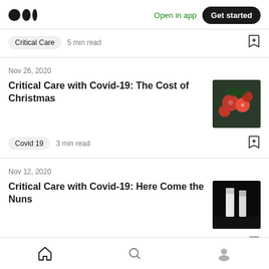Medium logo | Open in app | Get started
Critical Care  5 min read
Nov 26, 2020
Critical Care with Covid-19: The Cost of Christmas
Covid 19  3 min read
Nov 12, 2020
Critical Care with Covid-19: Here Come the Nuns
Covid 19  4 min read
Home | Search | Profile